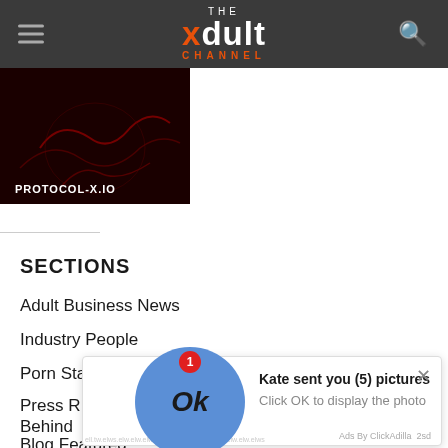THE xdult CHANNEL
[Figure (screenshot): Dark red thumbnail image with text PROTOCOL-X.IO and decorative red dragon/circuit lines]
SECTIONS
Adult Business News
Industry People
Porn Star of the Week
Press R...
Behind ...
Blog Featured
[Figure (screenshot): Ad overlay popup: blue circle with Ok button, badge showing 1, message 'Kate sent you (5) pictures', 'Click OK to display the photo', close X button, 'Ads By ClickAdilla 2sd' footer]